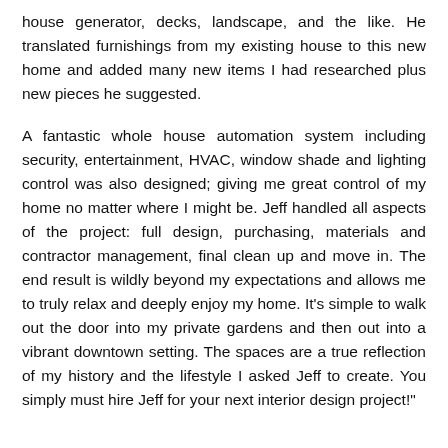house generator, decks, landscape, and the like. He translated furnishings from my existing house to this new home and added many new items I had researched plus new pieces he suggested.
A fantastic whole house automation system including security, entertainment, HVAC, window shade and lighting control was also designed; giving me great control of my home no matter where I might be. Jeff handled all aspects of the project: full design, purchasing, materials and contractor management, final clean up and move in. The end result is wildly beyond my expectations and allows me to truly relax and deeply enjoy my home. It's simple to walk out the door into my private gardens and then out into a vibrant downtown setting. The spaces are a true reflection of my history and the lifestyle I asked Jeff to create. You simply must hire Jeff for your next interior design project!"